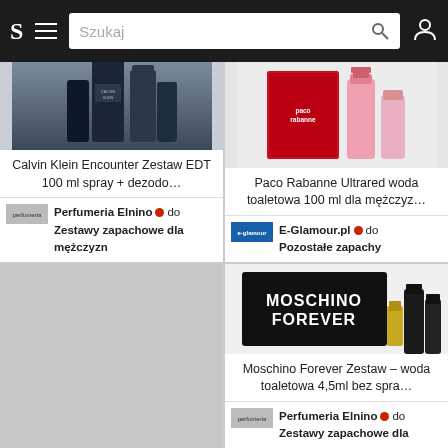S | Szukaj
[Figure (photo): Calvin Klein Encounter product set with dark bottles]
Calvin Klein Encounter Zestaw EDT 100 ml spray + dezodo…
Perfumeria Elnino 🔴 do
Zestawy zapachowe dla mężczyzn
[Figure (photo): Paco Rabanne Ultrared product set with red box and pink bottles]
Paco Rabanne Ultrared woda toaletowa 100 ml dla mężczyz…
E-Glamour.pl 🔴 do
Pozostałe zapachy
[Figure (photo): Moschino Forever gift set box with fragrance bottles]
Moschino Forever Zestaw – woda toaletowa 4,5ml bez spra…
Perfumeria Elnino 🔴 do
Zestawy zapachowe dla